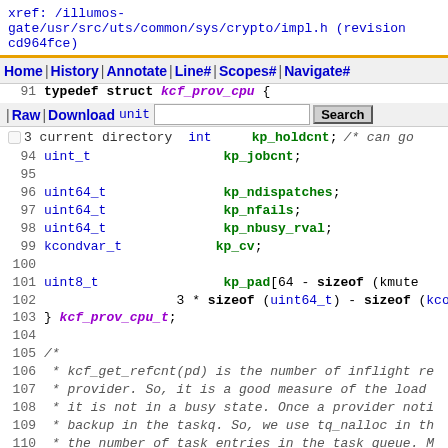xref: /illumos-gate/usr/src/uts/common/sys/crypto/impl.h (revision cd964fce)
[Figure (screenshot): Navigation bar with Home, History, Annotate, Line#, Scopes#, Navigate# links and a Raw, Download, Search bar with current directory checkbox]
Code view lines 91-115 showing C struct kcf_prov_cpu definition and comments